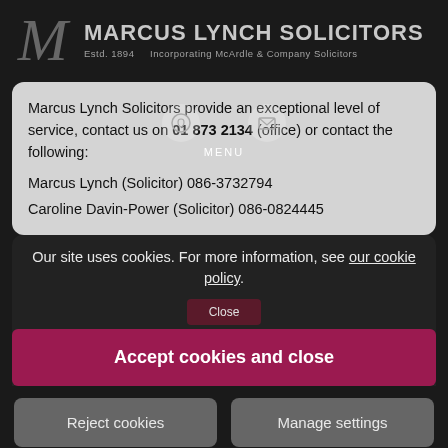MARCUS LYNCH SOLICITORS Estd. 1894 Incorporating McArdle & Company Solicitors
Marcus Lynch Solicitors provide an exceptional level of service, contact us on 01 873 2134 (office) or contact the following:
Marcus Lynch (Solicitor) 086-3732794
Caroline Davin-Power (Solicitor) 086-0824445
Our site uses cookies. For more information, see our cookie policy.
Accept cookies and close
Reject cookies
Manage settings